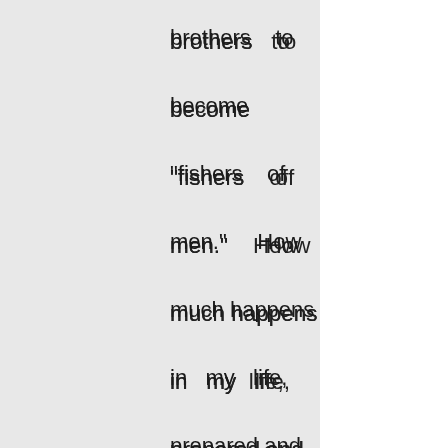brothers to become “fishers of men.” How much happens in my life, prepared and intended by God, to help me follow him more closely? And all I see is an accident, a coincidence? Ask him when was the last